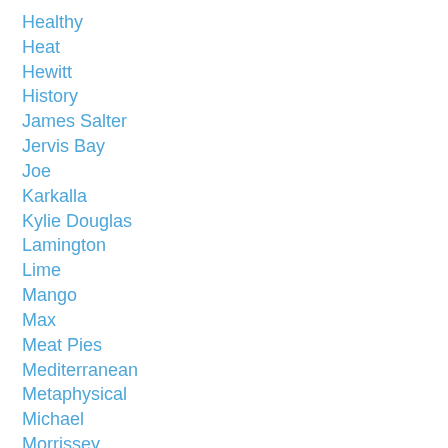Healthy
Heat
Hewitt
History
James Salter
Jervis Bay
Joe
Karkalla
Kylie Douglas
Lamington
Lime
Mango
Max
Meat Pies
Mediterranean
Metaphysical
Michael
Morrissey
NOW Contemporary
Pears
Pross